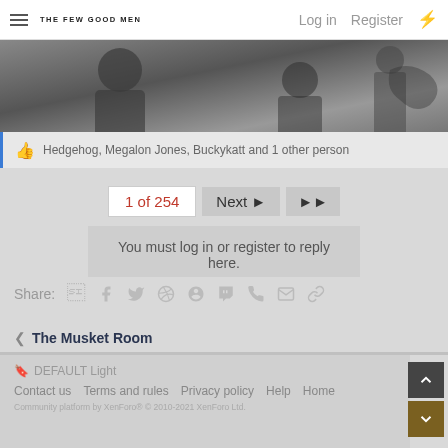THE FEW GOOD MEN — Log in   Register
[Figure (photo): Black and white photo banner showing silhouettes of people, partially cropped]
Hedgehog, Megalon Jones, Buckykatt and 1 other person
1 of 254   Next ▶   ▶▶
You must log in or register to reply here.
Share:  [Facebook] [Twitter] [Reddit] [Pinterest] [Tumblr] [WhatsApp] [Email] [Link]
< The Musket Room
DEFAULT Light   Contact us   Terms and rules   Privacy policy   Help   Home